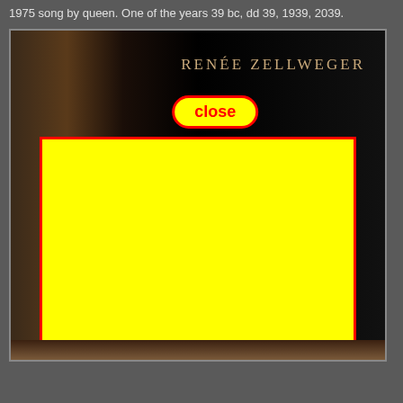1975 song by queen. One of the years 39 bc, dd 39, 1939, 2039.
[Figure (screenshot): A movie poster or promotional image with a dark background, showing the text 'RENÉE ZELLWEGER' at the top right in small caps gold text. A red-bordered yellow 'close' button appears in the middle, and a large yellow rectangle with a red border covers the lower portion of the image, obscuring content. A small portion of a face/chin is visible at the very bottom.]